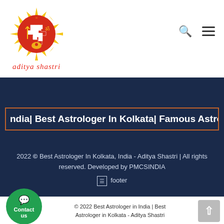[Figure (logo): Aditya Shastri astrology logo - red circle with swastika and religious symbols, yellow sun rays, text 'aditya shastri' in red below]
ndia| Best Astrologer In Kolkata| Famous Astrologer in India| Astro
2022 © Best Astrologer In Kolkata, India - Aditya Shastri | All rights reserved. Developed by PMCSINDIA
☰ footer
© 2022 Best Astrologer in India | Best Astrologer in Kolkata - Aditya Shastri